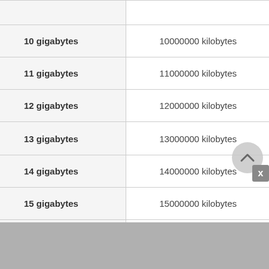| gigabytes | kilobytes |
| --- | --- |
| 10 gigabytes | 10000000 kilobytes |
| 11 gigabytes | 11000000 kilobytes |
| 12 gigabytes | 12000000 kilobytes |
| 13 gigabytes | 13000000 kilobytes |
| 14 gigabytes | 14000000 kilobytes |
| 15 gigabytes | 15000000 kilobytes |
| 16 gigabytes | 16000000 kilobytes |